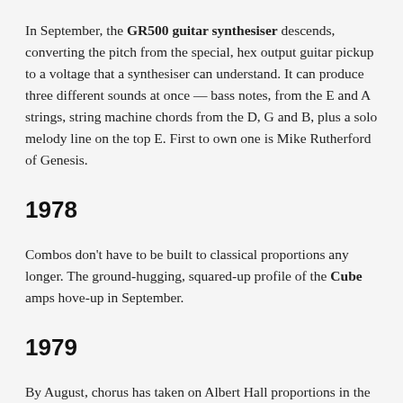In September, the GR500 guitar synthesiser descends, converting the pitch from the special, hex output guitar pickup to a voltage that a synthesiser can understand. It can produce three different sounds at once — bass notes, from the E and A strings, string machine chords from the D, G and B, plus a solo melody line on the top E. First to own one is Mike Rutherford of Genesis.
1978
Combos don't have to be built to classical proportions any longer. The ground-hugging, squared-up profile of the Cube amps hove-up in September.
1979
By August, chorus has taken on Albert Hall proportions in the SDD330 Dimension D rack unit (currently enjoying a revival).